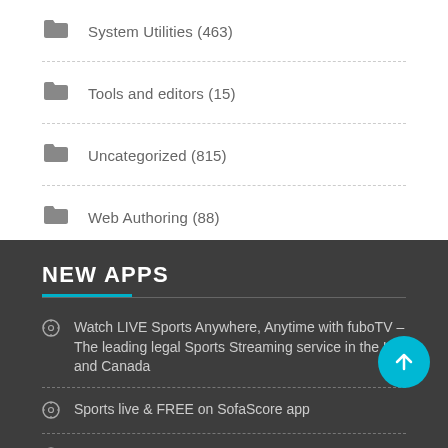System Utilities (463)
Tools and editors (15)
Uncategorized (815)
Web Authoring (88)
Word Processing (81)
NEW APPS
Watch LIVE Sports Anywhere, Anytime with fuboTV – The leading legal Sports Streaming service in the US and Canada
Sports live & FREE on SofaScore app
Watch NBA live stream (all matches in season 2016/17)